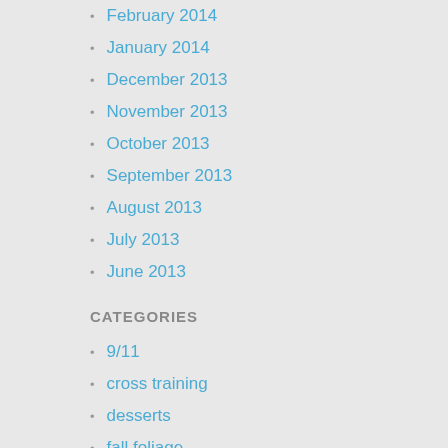February 2014
January 2014
December 2013
November 2013
October 2013
September 2013
August 2013
July 2013
June 2013
CATEGORIES
9/11
cross training
desserts
fall foliage
fuel
fundraising
helpful tips